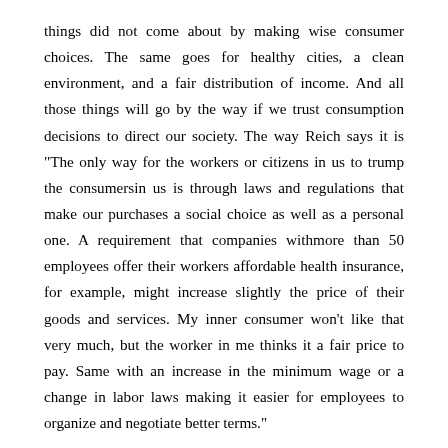things did not come about by making wise consumer choices. The same goes for healthy cities, a clean environment, and a fair distribution of income. And all those things will go by the way if we trust consumption decisions to direct our society. The way Reich says it is "The only way for the workers or citizens in us to trump the consumersin us is through laws and regulations that make our purchases a social choice as well as a personal one. A requirement that companies withmore than 50 employees offer their workers affordable health insurance, for example, might increase slightly the price of their goods and services. My inner consumer won't like that very much, but the worker in me thinks it a fair price to pay. Same with an increase in the minimum wage or a change in labor laws making it easier for employees to organize and negotiate better terms."
It is for these reasons that citizens who take a stand against Wal-